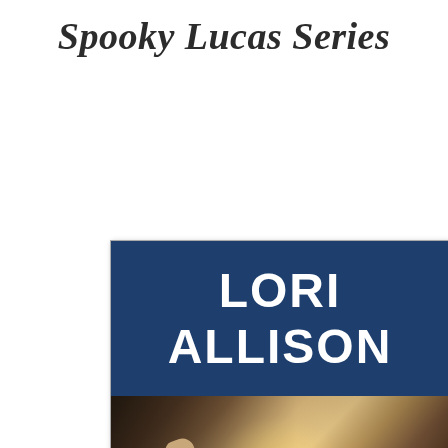Spooky Lucas Series
[Figure (illustration): Book cover for the Spooky Lucas Series by Lori Allison. The cover shows a dark blue banner at the top with the author name 'LORI ALLISON' in large white letters. Below the banner is a photograph of vintage children's toys including a wooden rocking horse, alphabet blocks spelling letters B, O, and others, a toy duck, and a teddy bear, arranged on a wooden surface with warm backlighting.]